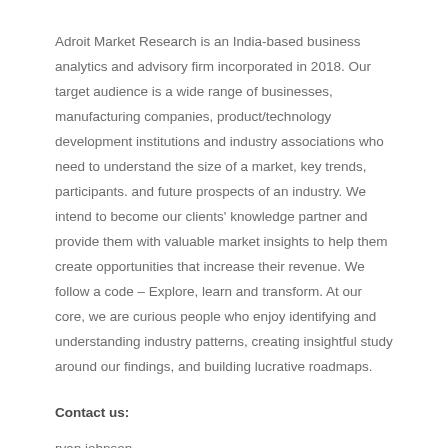Adroit Market Research is an India-based business analytics and advisory firm incorporated in 2018. Our target audience is a wide range of businesses, manufacturing companies, product/technology development institutions and industry associations who need to understand the size of a market, key trends, participants. and future prospects of an industry. We intend to become our clients' knowledge partner and provide them with valuable market insights to help them create opportunities that increase their revenue. We follow a code – Explore, learn and transform. At our core, we are curious people who enjoy identifying and understanding industry patterns, creating insightful study around our findings, and building lucrative roadmaps.
Contact us:
ryan johnson